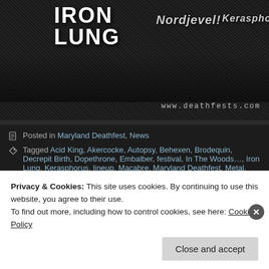[Figure (photo): Black and white metal festival banner with band names Iron Lung, Nordjevel, Kerasphorus and www.deathfests.com URL]
Posted in Maryland Deathfest, News
Tagged Acid King, Akercocke, Autopsy, Behexen, Brodequin, Decrepit Birth, Dopethrone, Embalber, festival, In The Woods..., Iron Lung, Kerasphorus, lineup, Macabre, Maryland Deathfest, Metal, Morbid Angel, Nightbringer, Nordjevel, Sargeist, Siege, Terrorizer, Usurper
Ghost Announce July U.S. Shows With Macabre
Privacy & Cookies: This site uses cookies. By continuing to use this website, you agree to their use.
To find out more, including how to control cookies, see here: Cookie Policy